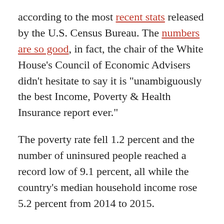according to the most recent stats released by the U.S. Census Bureau. The numbers are so good, in fact, the chair of the White House's Council of Economic Advisers didn't hesitate to say it is "unambiguously the best Income, Poverty & Health Insurance report ever."
The poverty rate fell 1.2 percent and the number of uninsured people reached a record low of 9.1 percent, all while the country's median household income rose 5.2 percent from 2014 to 2015.
However, much of the income increase came from urban areas where the income gains are largely offset by steeply rising rents. Between 2008 and 2014, an additional 3.6 million households joined the ranks of those cost-burdened housing. Housing is cost-burdened when a